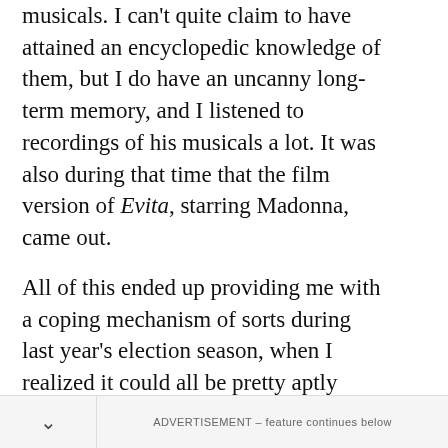musicals. I can't quite claim to have attained an encyclopedic knowledge of them, but I do have an uncanny long-term memory, and I listened to recordings of his musicals a lot. It was also during that time that the film version of Evita, starring Madonna, came out.
All of this ended up providing me with a coping mechanism of sorts during last year's election season, when I realized it could all be pretty aptly summarized using lines from Evita.
ADVERTISEMENT – feature continues below